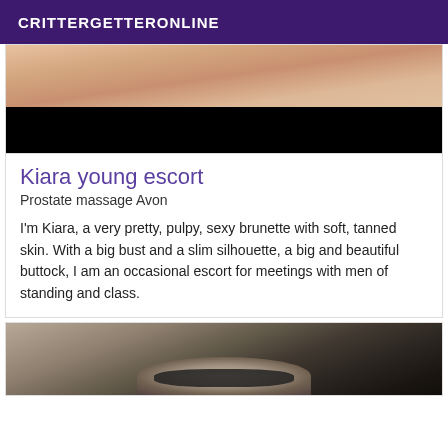CRITTERGETTERONLINE
[Figure (photo): Close-up photo of a human arm with tanned skin on a white surface, partially redacted with a black bar]
Kiara young escort
Prostate massage Avon
I'm Kiara, a very pretty, pulpy, sexy brunette with soft, tanned skin. With a big bust and a slim silhouette, a big and beautiful buttock, I am an occasional escort for meetings with men of standing and class.
[Figure (photo): Close-up photo of a person wearing round glasses, partially cropped]